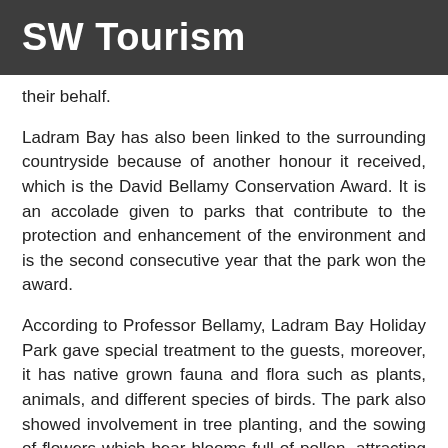SW Tourism
their behalf.
Ladram Bay has also been linked to the surrounding countryside because of another honour it received, which is the David Bellamy Conservation Award. It is an accolade given to parks that contribute to the protection and enhancement of the environment and is the second consecutive year that the park won the award.
According to Professor Bellamy, Ladram Bay Holiday Park gave special treatment to the guests, moreover, it has native grown fauna and flora such as plants, animals, and different species of birds. The park also showed involvement in tree planting, and the sowing of flowers which bear blooms full of pollen, attracting both common and rare types of butterflies as well as being a habitat for bats and owls.
Aside from the environment care that it takes, Ladram Bay Holiday Park takes great pride in their accommodation packages, tents and touring facilities,